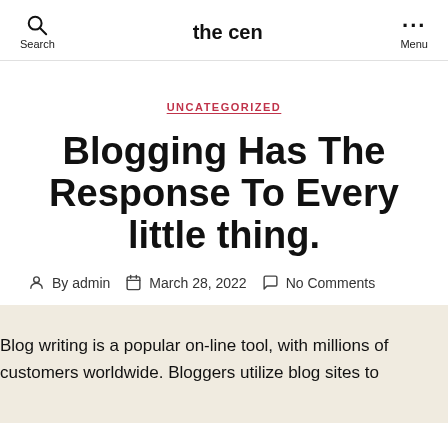the cen
UNCATEGORIZED
Blogging Has The Response To Every little thing.
By admin   March 28, 2022   No Comments
Blog writing is a popular on-line tool, with millions of customers worldwide. Bloggers utilize blog sites to